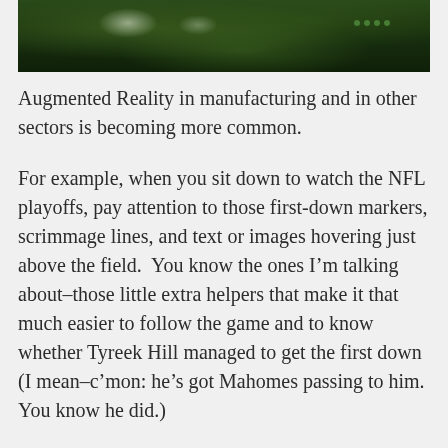[Figure (photo): Cropped photo of machinery or equipment with dark green tones, likely industrial manufacturing setting]
Augmented Reality in manufacturing and in other sectors is becoming more common.
For example, when you sit down to watch the NFL playoffs, pay attention to those first-down markers, scrimmage lines, and text or images hovering just above the field.  You know the ones I’m talking about–those little extra helpers that make it that much easier to follow the game and to know whether Tyreek Hill managed to get the first down (I mean–c’mon: he’s got Mahomes passing to him.  You know he did.)